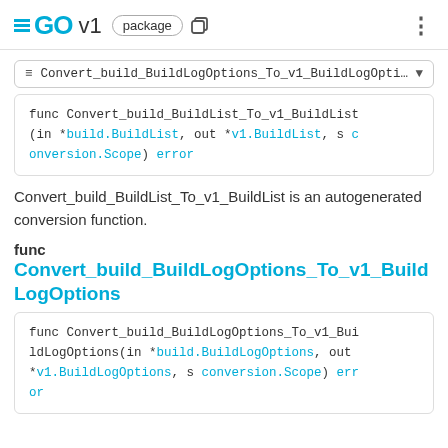GO v1 package
≡ Convert_build_BuildLogOptions_To_v1_BuildLogOptions ▼
func Convert_build_BuildList_To_v1_BuildList(in *build.BuildList, out *v1.BuildList, s conversion.Scope) error
Convert_build_BuildList_To_v1_BuildList is an autogenerated conversion function.
func Convert_build_BuildLogOptions_To_v1_BuildLogOptions
func Convert_build_BuildLogOptions_To_v1_BuildLogOptions(in *build.BuildLogOptions, out *v1.BuildLogOptions, s conversion.Scope) error